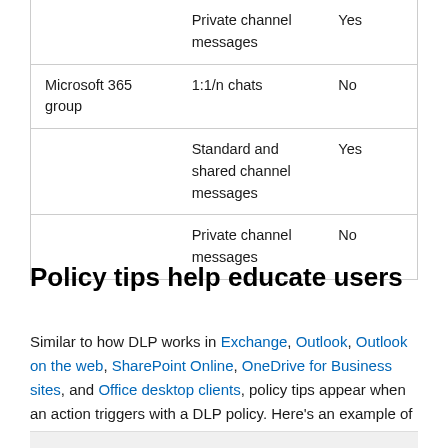|  | Private channel messages | Yes |
| Microsoft 365 group | 1:1/n chats | No |
|  | Standard and shared channel messages | Yes |
|  | Private channel messages | No |
Policy tips help educate users
Similar to how DLP works in Exchange, Outlook, Outlook on the web, SharePoint Online, OneDrive for Business sites, and Office desktop clients, policy tips appear when an action triggers with a DLP policy. Here's an example of a policy tip:
[Figure (screenshot): Bottom edge of a screenshot or image showing a policy tip example]